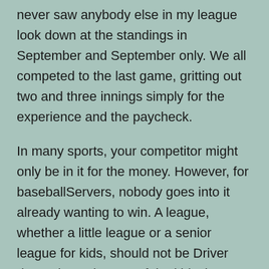never saw anybody else in my league look down at the standings in September and September only. We all competed to the last game, gritting out two and three innings simply for the experience and the paycheck.
In many sports, your competitor might only be in it for the money. However, for baseballServers, nobody goes into it already wanting to win. A league, whether a little league or a senior league for kids, should not be Driver depends on the age of the kids, but whether they want to win major competitions.